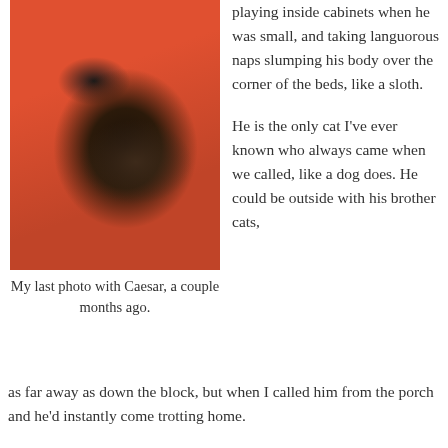[Figure (photo): A person in an orange top holding a large black fluffy cat close to their face, smiling.]
My last photo with Caesar, a couple months ago.
playing inside cabinets when he was small, and taking languorous naps slumping his body over the corner of the beds, like a sloth.
He is the only cat I've ever known who always came when we called, like a dog does. He could be outside with his brother cats, as far away as down the block, but when I called him from the porch and he'd instantly come trotting home.